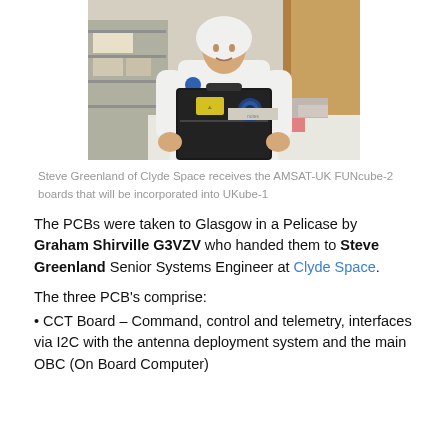[Figure (photo): Person in white cleanroom suit holding a black Pelican case with equipment inside, standing in a laboratory/cleanroom environment with shelving and equipment visible in the background.]
Steve Greenland of Clyde Space receives the AMSAT-UK FUNcube-2 boards that will be incorporated into UKube-1
The PCBs were taken to Glasgow in a Pelicase by Graham Shirville G3VZV who handed them to Steve Greenland Senior Systems Engineer at Clyde Space.
The three PCB's comprise:
CCT Board – Command, control and telemetry, interfaces via I2C with the antenna deployment system and the main OBC (On Board Computer)